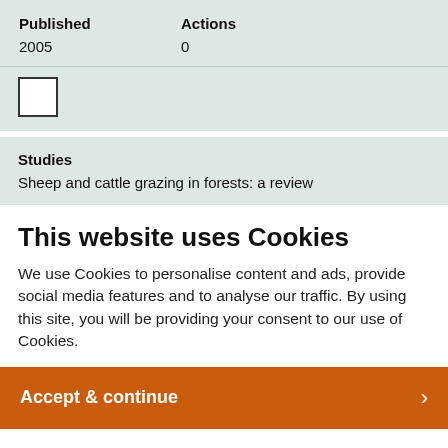| Published | Actions |
| --- | --- |
| 2005 | 0 |
[Figure (other): Checkbox (unchecked) in a light green-grey panel]
Studies
Sheep and cattle grazing in forests: a review
This website uses Cookies
We use Cookies to personalise content and ads, provide social media features and to analyse our traffic. By using this site, you will be providing your consent to our use of Cookies.
Accept & continue